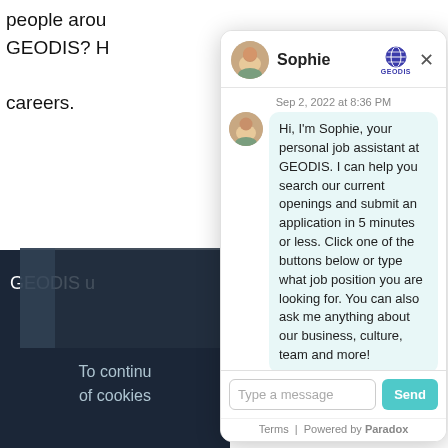people arou GEODIS? H careers.
GEODIS u
To continu of cookies
[Figure (screenshot): Chat widget overlay showing Sophie, a GEODIS job assistant chatbot. Header shows Sophie's avatar and name, GEODIS globe logo, and X close button. Timestamp: Sep 2, 2022 at 8:36 PM. Message bubble reads: Hi, I'm Sophie, your personal job assistant at GEODIS. I can help you search our current openings and submit an application in 5 minutes or less. Click one of the buttons below or type what job position you are looking for. You can also ask me anything about our business, culture, team and more! Input area with 'Type a message' placeholder and 'Send' button. Footer: Terms | Powered by Paradox]
Sep 2, 2022 at 8:36 PM
Hi, I'm Sophie, your personal job assistant at GEODIS. I can help you search our current openings and submit an application in 5 minutes or less. Click one of the buttons below or type what job position you are looking for. You can also ask me anything about our business, culture, team and more!
Type a message
Send
Terms | Powered by Paradox